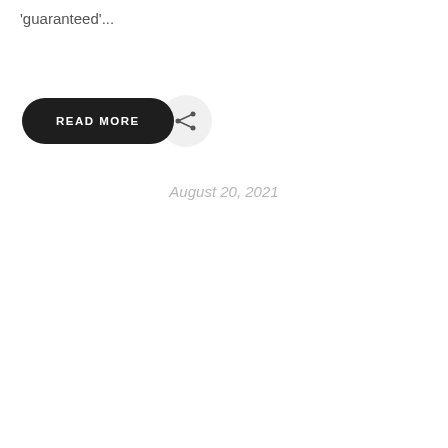'guaranteed'...
[Figure (other): A dark pill-shaped 'READ MORE' button next to a circular share icon button]
August 20, 2021